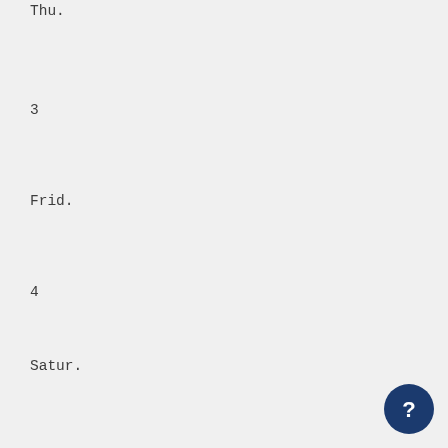Thu.
3
Frid.
4
Satur.
ft
SI'N.
6
Mo.V.